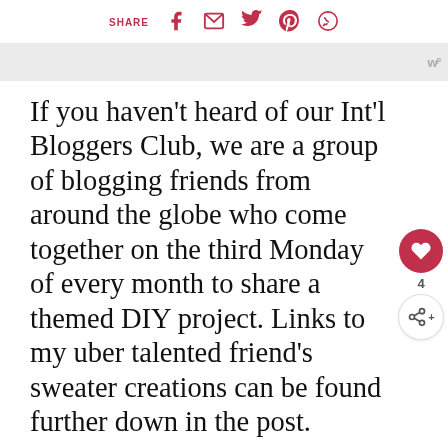SHARE [facebook] [email] [twitter] [pinterest] [whatsapp]
[Figure (screenshot): Ad banner placeholder with stylized W logo in gray]
If you haven't heard of our Int'l Bloggers Club, we are a group of blogging friends from around the globe who come together on the third Monday of every month to share a themed DIY project. Links to my uber talented friend's sweater creations can be found further down in the post.
[Figure (infographic): Floating social sidebar with heart icon (count: 4) and share button]
[Figure (infographic): What's Next panel with thumbnail image and text: Festive Winter Embroidery...]
Easy Easter Egg Sweater Wreath Ideas
[Figure (screenshot): Bottom advertisement: It's time to talk about Alzheimer's. LEARN MORE button with Alzheimer's Association logo]